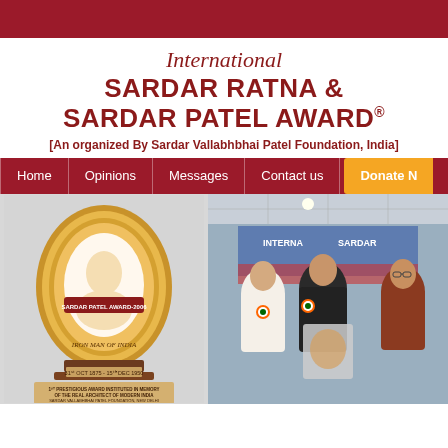International
SARDAR RATNA &
SARDAR PATEL AWARD®
[An organized By Sardar Vallabhbhai Patel Foundation, India]
Home | Opinions | Messages | Contact us | Donate N
[Figure (photo): Gold oval-shaped Sardar Patel Award trophy with portrait, text reading 'SARDAR PATEL AWARD 2006', 'IRON MAN OF INDIA', dates '31 Oct 1875 - 15 Dec 1950', on a wooden base with inscription about prestigious award instituted in memory of the real architect of modern India by Sardar Vallabhbhai Patel Foundation, New Delhi]
[Figure (photo): Three men standing together at an event with 'INTERNATIONAL SARDAR' banner in background; the man in center wearing dark jacket holds a wrapped award item, flanked by a man in white kurta with tricolor rosette on left and an elderly man on right]